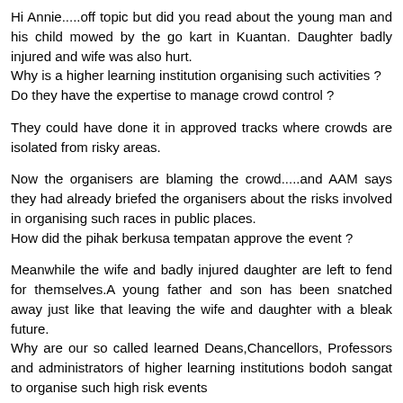Hi Annie.....off topic but did you read about the young man and his child mowed by the go kart in Kuantan. Daughter badly injured and wife was also hurt.
Why is a higher learning institution organising such activities ?
Do they have the expertise to manage crowd control ?

They could have done it in approved tracks where crowds are isolated from risky areas.

Now the organisers are blaming the crowd.....and AAM says they had already briefed the organisers about the risks involved in organising such races in public places.
How did the pihak berkusa tempatan approve the event ?

Meanwhile the wife and badly injured daughter are left to fend for themselves.A young father and son has been snatched away just like that leaving the wife and daughter with a bleak future.
Why are our so called learned Deans,Chancellors, Professors and administrators of higher learning institutions bodoh sangat to organise such high risk events